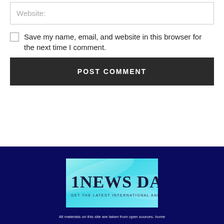Website:
Save my name, email, and website in this browser for the next time I comment.
POST COMMENT
[Figure (logo): 1NEWS DAY logo with cyan/teal abstract background and text 'GET THE LATEST INTERNATIONAL AND POLITICAL NEWS']
All materials on this site are taken from open sources. home